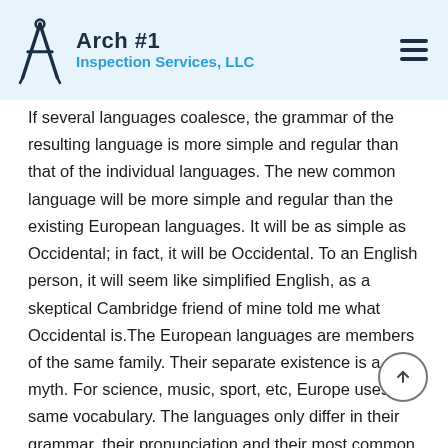Arch #1 Inspection Services, LLC
If several languages coalesce, the grammar of the resulting language is more simple and regular than that of the individual languages. The new common language will be more simple and regular than the existing European languages. It will be as simple as Occidental; in fact, it will be Occidental. To an English person, it will seem like simplified English, as a skeptical Cambridge friend of mine told me what Occidental is.The European languages are members of the same family. Their separate existence is a myth. For science, music, sport, etc, Europe uses the same vocabulary. The languages only differ in their grammar, their pronunciation and their most common words. Everyone realizes why a new common language would be desirable: one could refuse to pay expensive translators.